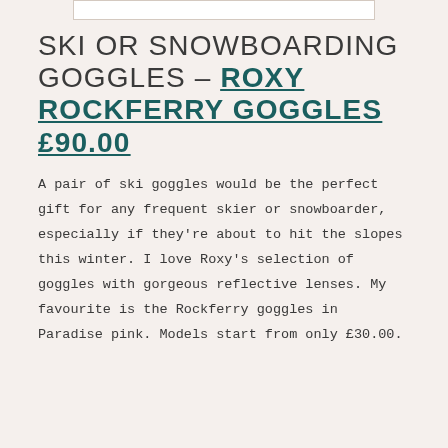SKI OR SNOWBOARDING GOGGLES – ROXY ROCKFERRY GOGGLES £90.00
A pair of ski goggles would be the perfect gift for any frequent skier or snowboarder, especially if they're about to hit the slopes this winter. I love Roxy's selection of goggles with gorgeous reflective lenses. My favourite is the Rockferry goggles in Paradise pink. Models start from only £30.00.